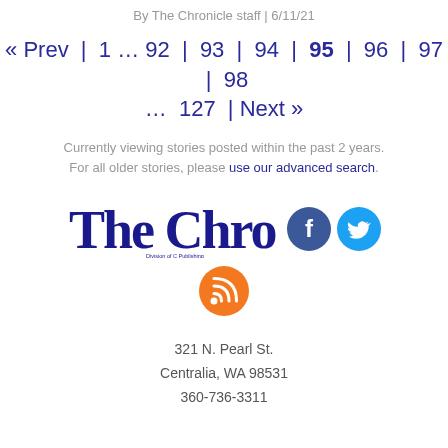By The Chronicle staff | 6/11/21
« Prev | 1 … 92 | 93 | 94 | 95 | 96 | 97 | 98 … 127 | Next »
Currently viewing stories posted within the past 2 years. For all older stories, please use our advanced search.
[Figure (logo): The Chronicle newspaper logo in dark blue old English font with social media icons (Facebook, Twitter, RSS)]
321 N. Pearl St.
Centralia, WA 98531
360-736-3311